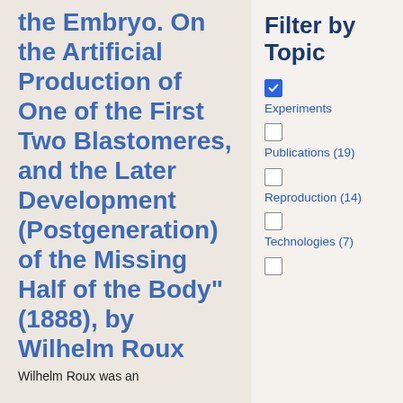the Embryo. On the Artificial Production of One of the First Two Blastomeres, and the Later Development (Postgeneration) of the Missing Half of the Body" (1888), by Wilhelm Roux
Wilhelm Roux was an
Filter by Topic
Experiments
Publications (19)
Reproduction (14)
Technologies (7)